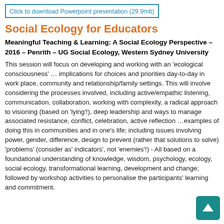Click to download Powerpoint presentation (29.9mb)
Social Ecology for Educators
Meaningful Teaching & Learning: A Social Ecology Perspective – 2016 – Penrith – UG Social Ecology, Western Sydney University
This session will focus on developing and working with an 'ecological consciousness' … implications for choices and priorities day-to-day in work place, community and relationship/family settings. This will involve considering the processes involved, including active/empathic listening, communication, collaboration, working with complexity, a radical approach to visioning (based on 'lying'!), deep leadership and ways to manage associated resistance, conflict, celebration, active reflection …examples of doing this in communities and in one's life; including issues involving power, gender, difference, design to prevent (rather that solutions to solve) 'problems' (consider as' indicators', not 'enemies'!) - All based on a foundational understanding of knowledge, wisdom, psychology, ecology, social ecology, transformational learning, development and change; followed by workshop activities to personalise the participants' learning and commitment.